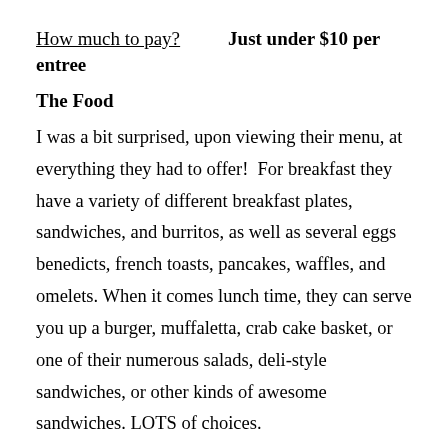How much to pay?   Just under $10 per entree
The Food
I was a bit surprised, upon viewing their menu, at everything they had to offer!  For breakfast they have a variety of different breakfast plates, sandwiches, and burritos, as well as several eggs benedicts, french toasts, pancakes, waffles, and omelets. When it comes lunch time, they can serve you up a burger, muffaletta, crab cake basket, or one of their numerous salads, deli-style sandwiches, or other kinds of awesome sandwiches. LOTS of choices.
If that wasn't already enough to choose from, Fatty